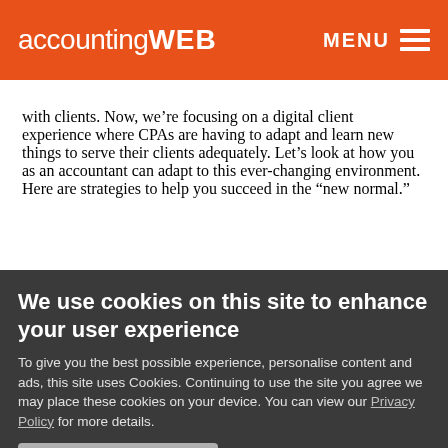accountingWEB  MENU
with clients. Now, we’re focusing on a digital client experience where CPAs are having to adapt and learn new things to serve their clients adequately. Let’s look at how you as an accountant can adapt to this ever-changing environment. Here are strategies to help you succeed in the “new normal.”
We use cookies on this site to enhance your user experience
To give you the best possible experience, personalise content and ads, this site uses Cookies. Continuing to use the site you agree we may place these cookies on your device. You can view our Privacy Policy for more details.
No, give me more info
OK, I agree